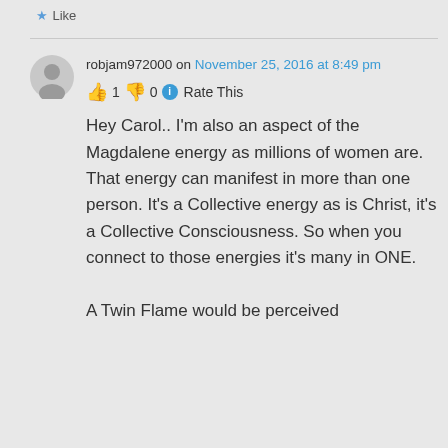Like
robjam972000 on November 25, 2016 at 8:49 pm
👍 1 👎 0 ℹ Rate This
Hey Carol.. I'm also an aspect of the Magdalene energy as millions of women are. That energy can manifest in more than one person. It's a Collective energy as is Christ, it's a Collective Consciousness. So when you connect to those energies it's many in ONE.

A Twin Flame would be perceived